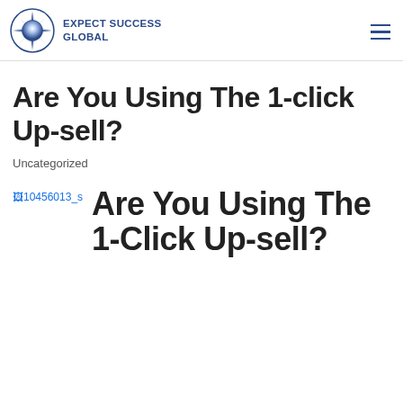EXPECT SUCCESS GLOBAL
Are You Using The 1-click Up-sell?
Uncategorized
[Figure (other): Broken image placeholder showing filename 10456013_s]
Are You Using The 1-Click Up-sell?